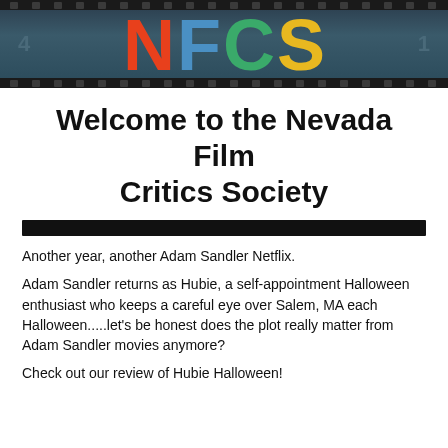[Figure (logo): NFCS Nevada Film Critics Society logo banner with colorful letters N (red), F (blue), C (green), S (yellow) on a dark teal film strip background]
Welcome to the Nevada Film Critics Society
[Figure (other): Black bar/banner element]
Another year, another Adam Sandler Netflix.
Adam Sandler returns as Hubie, a self-appointment Halloween enthusiast who keeps a careful eye over Salem, MA each Halloween.....let's be honest does the plot really matter from Adam Sandler movies anymore?
Check out our review of Hubie Halloween!